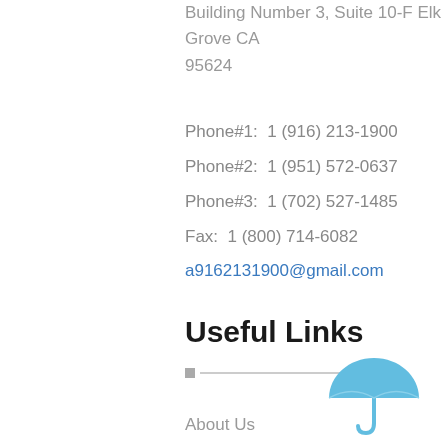Building Number 3, Suite 10-F Elk Grove CA 95624
Phone#1:  1 (916) 213-1900
Phone#2:  1 (951) 572-0637
Phone#3:  1 (702) 527-1485
Fax:  1 (800) 714-6082
a9162131900@gmail.com
Useful Links
[Figure (illustration): Blue umbrella icon]
About Us